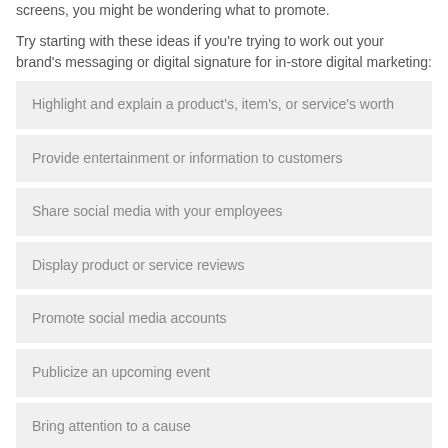screens, you might be wondering what to promote.
Try starting with these ideas if you're trying to work out your brand's messaging or digital signature for in-store digital marketing:
Highlight and explain a product's, item's, or service's worth
Provide entertainment or information to customers
Share social media with your employees
Display product or service reviews
Promote social media accounts
Publicize an upcoming event
Bring attention to a cause